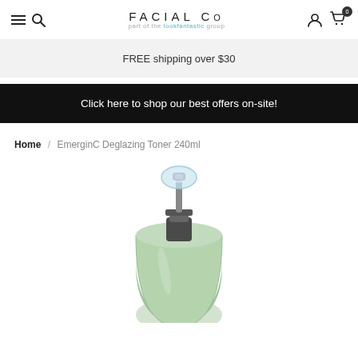FACIAL Co — part of the lookfantastic group
FREE shipping over $30
Click here to shop our best offers on-site!
Home / EmerginC Deglazing Toner 240ml
[Figure (photo): Close-up photo of the top of a green frosted bottle with a clear pump dispenser and grey pump mechanism — EmerginC Deglazing Toner 240ml product bottle.]